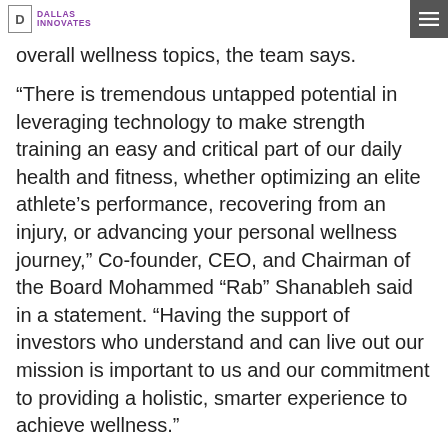Dallas Innovates
overall wellness topics, the team says.
“There is tremendous untapped potential in leveraging technology to make strength training an easy and critical part of our daily health and fitness, whether optimizing an elite athlete’s performance, recovering from an injury, or advancing your personal wellness journey,” Co-founder, CEO, and Chairman of the Board Mohammed “Rab” Shanableh said in a statement. “Having the support of investors who understand and can live out our mission is important to us and our commitment to providing a holistic, smarter experience to achieve wellness.”
Shanableh plans to use his more than two decades of technology experience—with past stints at Affirmed Networks and WorldLink Cube and Centex…